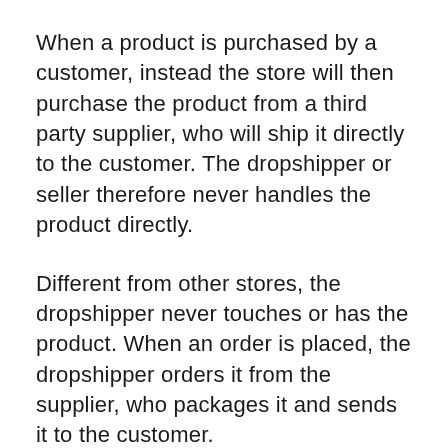When a product is purchased by a customer, instead the store will then purchase the product from a third party supplier, who will ship it directly to the customer. The dropshipper or seller therefore never handles the product directly.
Different from other stores, the dropshipper never touches or has the product. When an order is placed, the dropshipper orders it from the supplier, who packages it and sends it to the customer.